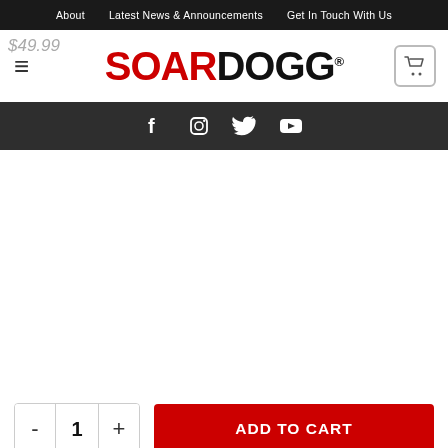About  Latest News & Announcements  Get In Touch With Us
[Figure (logo): SOARDOGG logo with SOAR in red and DOGG in black, registered trademark symbol]
[Figure (infographic): Social media icons bar: Facebook, Instagram, Twitter, YouTube on dark background]
$49.99
- 1 +
ADD TO CART